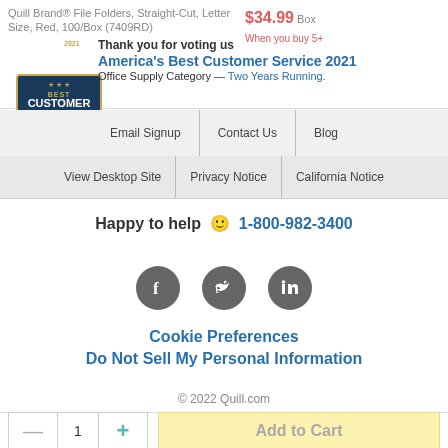Quill Brand® File Folders, Straight-Cut, Letter Size, Red, 100/Box (7409RD)
$34.99 Box When you buy 5+
[Figure (logo): Best Customer Service 2021 award badge by Newsweek/Statista]
Thank you for voting us America's Best Customer Service 2021 Office Supply Category — Two Years Running.
Email Signup | Contact Us | Blog
View Desktop Site | Privacy Notice | California Notice
Happy to help 🙂 1-800-982-3400
[Figure (illustration): Facebook, Twitter, LinkedIn social media icons]
Cookie Preferences
Do Not Sell My Personal Information
© 2022 Quill.com
— 1 + Add to Cart